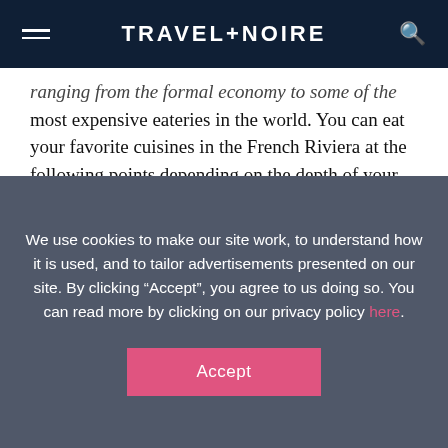TRAVEL+NOIRE
ranging from the formal economy to some of the most expensive eateries in the world. You can eat your favorite cuisines in the French Riviera at the following points depending on the depth of your pockets.
We use cookies to make our site work, to understand how it is used, and to tailor advertisements presented on our site. By clicking “Accept”, you agree to us doing so. You can read more by clicking on our privacy policy here.